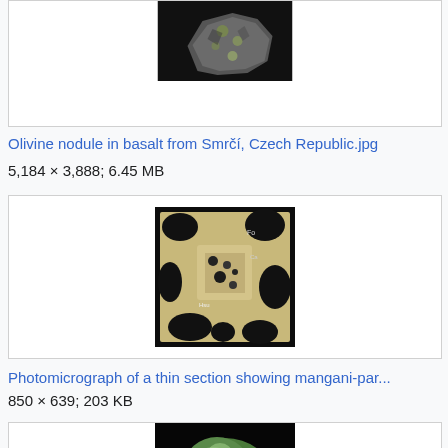[Figure (photo): Partial view of a dark mineral/rock specimen on black background]
Olivine nodule in basalt from Smrčí, Czech Republic.jpg
5,184 × 3,888; 6.45 MB
[Figure (photo): Photomicrograph of a thin section showing mangani-par... mineral under microscope, showing black and tan crystalline structure]
Photomicrograph of a thin section showing mangani-par...
850 × 639; 203 KB
[Figure (photo): Partial view of a green mineral specimen on black background]